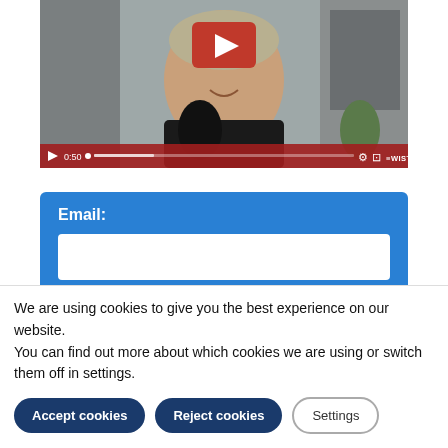[Figure (screenshot): Video player showing a woman smiling, with a red play button overlay and Wistia video controls at bottom showing timestamp 0:50]
[Figure (screenshot): Email form field with blue background showing 'Email:' label and white input box, and partially visible 'Name:' label below]
We are using cookies to give you the best experience on our website.
You can find out more about which cookies we are using or switch them off in settings.
Accept cookies
Reject cookies
Settings